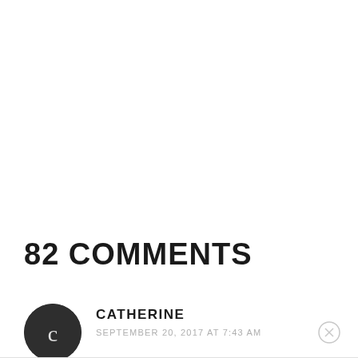82 COMMENTS
[Figure (illustration): Dark circular avatar with letter C, representing commenter Catherine]
CATHERINE
SEPTEMBER 20, 2017 AT 7:43 AM